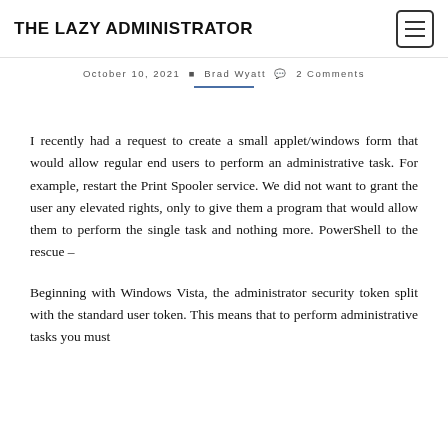THE LAZY ADMINISTRATOR
October 10, 2021 • Brad Wyatt • 2 Comments
I recently had a request to create a small applet/windows form that would allow regular end users to perform an administrative task. For example, restart the Print Spooler service. We did not want to grant the user any elevated rights, only to give them a program that would allow them to perform the single task and nothing more. PowerShell to the rescue –
Beginning with Windows Vista, the administrator security token split with the standard user token. This means that to perform administrative tasks you must